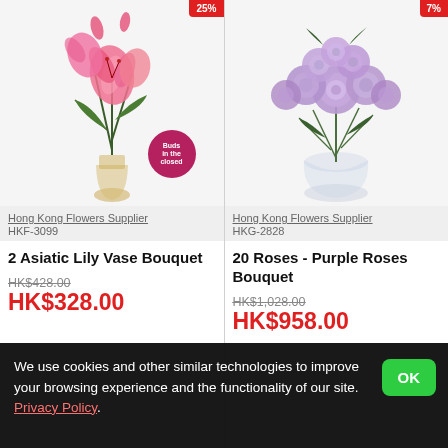[Figure (photo): Pink Asiatic lily flowers in a tall glass vase with a red 'Buds' circular badge overlay. Red discount badge in top-right corner reading '25%'.]
[Figure (photo): Purple/lavender roses bouquet in a round glass vase. Red discount badge in top-right corner reading '7%'.]
Hong Kong Flowers Supplier
HKF-3099
Hong Kong Flowers Supplier
HKG-2828
2 Asiatic Lily Vase Bouquet
20 Roses - Purple Roses Bouquet
HK$428.00 (original price, strikethrough)
HK$328.00 (sale price)
HK$1,028.00 (original price, strikethrough)
HK$958.00 (sale price)
We use cookies and other similar technologies to improve your browsing experience and the functionality of our site. Privacy Policy.